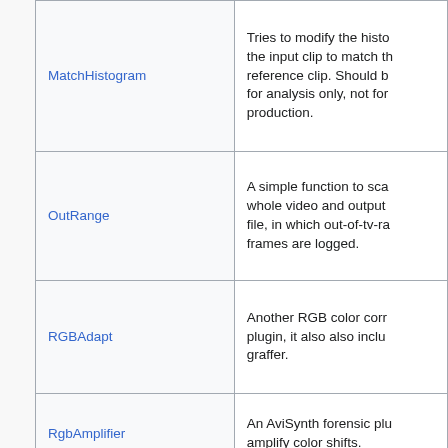| Name | Description |
| --- | --- |
| MatchHistogram | Tries to modify the histo the input clip to match th reference clip. Should b for analysis only, not for production. |
| OutRange | A simple function to sca whole video and output file, in which out-of-tv-ra frames are logged. |
| RGBAdapt | Another RGB color corr plugin, it also also inclu graffer. |
| RgbAmplifier | An AviSynth forensic plu amplify color shifts. |
| SafeColorLimiter 🔒 | Automatic Clipping to ge broadcast safe output in TV Range. |
| SelectiveColour | AviSynth implementatio Photoshop's selective co adjustment. |